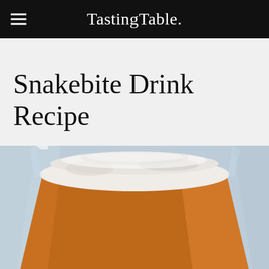TastingTable.
Snakebite Drink Recipe
[Figure (photo): Close-up photo of a pint glass filled with amber beer topped with a creamy white foam head, set against a light gray background.]